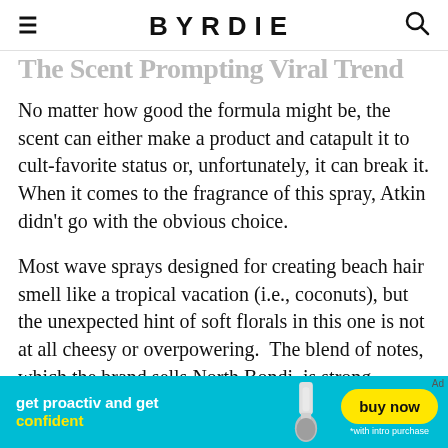BYRDIE
The Scent Prompting Viral Trend
No matter how good the formula might be, the scent can either make a product and catapult it to cult-favorite status or, unfortunately, it can break it. When it comes to the fragrance of this spray, Atkin didn't go with the obvious choice.
Most wave sprays designed for creating beach hair smell like a tropical vacation (i.e., coconuts), but the unexpected hint of soft florals in this one is not at all cheesy or overpowering. The blend of notes, which the brand sells North Bondi, is strong enough to
[Figure (advertisement): Proactiv advertisement banner: teal background with text 'get proactiv and get confident' in white/yellow, image of a facial brush, and a yellow 'buy now' button with '*with intro purchase' below.]